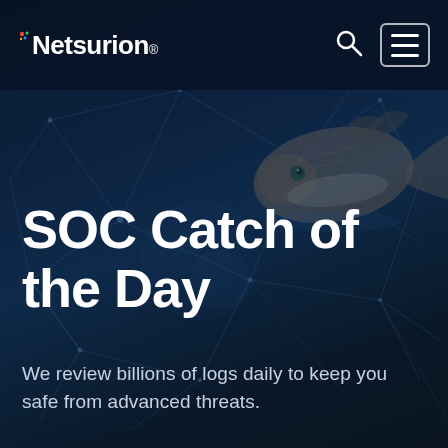[Figure (screenshot): Netsurion website hero section with dark navy blue background featuring network polygon lines and a fish image on the right side]
Netsurion
SOC Catch of the Day
We review billions of logs daily to keep you safe from advanced threats.